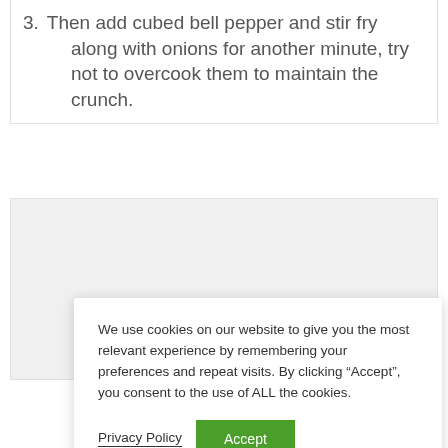3. Then add cubed bell pepper and stir fry along with onions for another minute, try not to overcook them to maintain the crunch.
[Figure (photo): A light gray placeholder image area for a food photograph]
We use cookies on our website to give you the most relevant experience by remembering your preferences and repeat visits. By clicking “Accept”, you consent to the use of ALL the cookies.